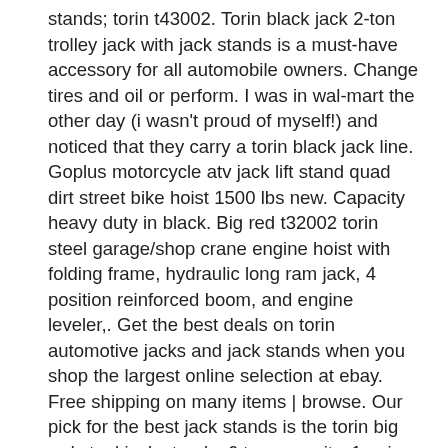stands; torin t43002. Torin black jack 2-ton trolley jack with jack stands is a must-have accessory for all automobile owners. Change tires and oil or perform. I was in wal-mart the other day (i wasn't proud of myself!) and noticed that they carry a torin black jack line. Goplus motorcycle atv jack lift stand quad dirt street bike hoist 1500 lbs new. Capacity heavy duty in black. Big red t32002 torin steel garage/shop crane engine hoist with folding frame, hydraulic long ram jack, 4 position reinforced boom, and engine leveler,. Get the best deals on torin automotive jacks and jack stands when you shop the largest online selection at ebay. Free shipping on many items | browse. Our pick for the best jack stands is the torin big red steel jack stands: 6 ton capacity, 1 pair. They can accommodate between two and 12 tons. Discover car jacks and get black jack floor jack parts at an amazing price on alibaba. Delight in browsing through the best items.